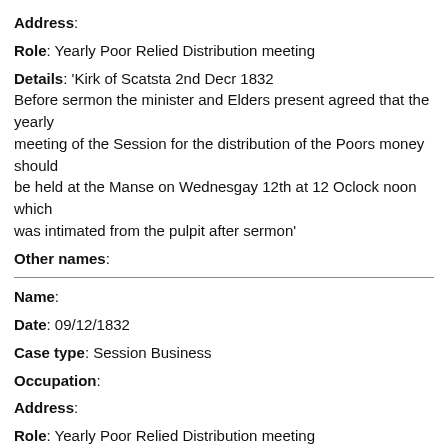Address:
Role: Yearly Poor Relied Distribution meeting
Details: 'Kirk of Scatsta 2nd Decr 1832 Before sermon the minister and Elders present agreed that the yearly meeting of the Session for the distribution of the Poors money should be held at the Manse on Wednesgay 12th at 12 Oclock noon which was intimated from the pulpit after sermon'
Other names:
Name:
Date: 09/12/1832
Case type: Session Business
Occupation:
Address:
Role: Yearly Poor Relied Distribution meeting
Details: 'Kirk of Olnafirth 9th Decr 1832 The minister intimated from the Pulpit the yearly meeting of the Session to be held at the Manse upon Wednesday 12th at 12 O,clock